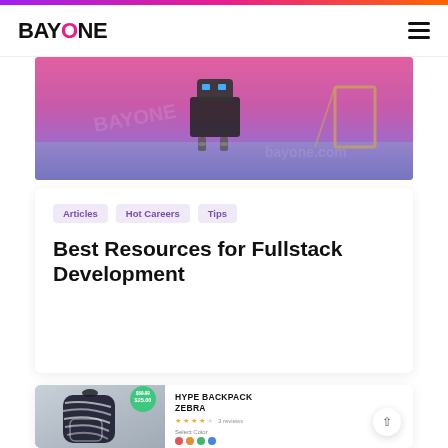[Figure (screenshot): BAYONE website logo in top-left with hamburger menu icon top-right, gradient bar at top]
[Figure (photo): Hero banner image showing a robot figure against a pink/purple background]
Articles
Hot Careers
Tips
Best Resources for Fullstack Development
[Figure (photo): Product listing screenshot showing HYPE BACKPACK ZEBRA with price badge, star rating, color selector, and a zebra-pattern backpack image]